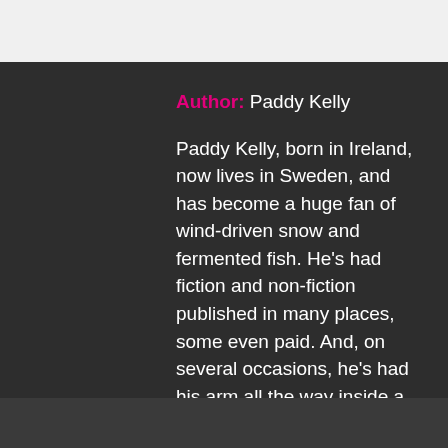Author: Paddy Kelly
Paddy Kelly, born in Ireland, now lives in Sweden, and has become a huge fan of wind-driven snow and fermented fish. He's had fiction and non-fiction published in many places, some even paid. And, on several occasions, he's had his arm all the way inside a cow. He tweets way too much at @spongepaddy.